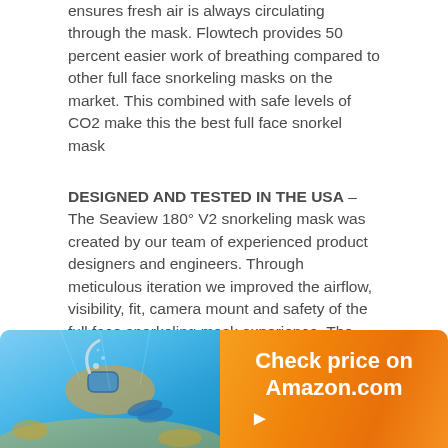ensures fresh air is always circulating through the mask. Flowtech provides 50 percent easier work of breathing compared to other full face snorkeling masks on the market. This combined with safe levels of CO2 make this the best full face snorkel mask
DESIGNED AND TESTED IN THE USA – The Seaview 180° V2 snorkeling mask was created by our team of experienced product designers and engineers. Through meticulous iteration we improved the airflow, visibility, fit, camera mount and safety of the full face snorkeling mask experience. The Seaview V2 launched on Kickstarter in 2018 and was backed by thousands of people. We used 3rd party experts to measure the airflow and CO2 elements of the mask to ensure a safe user experience for all.
[Figure (infographic): Banner with a photo of a snorkeler underwater on the left side and an orange gradient CTA button on the right reading 'Check price on Amazon.com' with a play arrow below.]